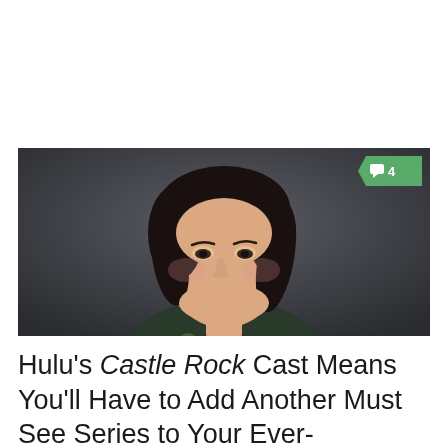[Figure (photo): Portrait photo of a woman with short dark hair wearing a floral top, against a dark grey background. A green comment badge showing '4' is in the top-right corner of the image.]
Hulu's Castle Rock Cast Means You'll Have to Add Another Must See Series to Your Ever-Expanding List *Updated with Trailer 2